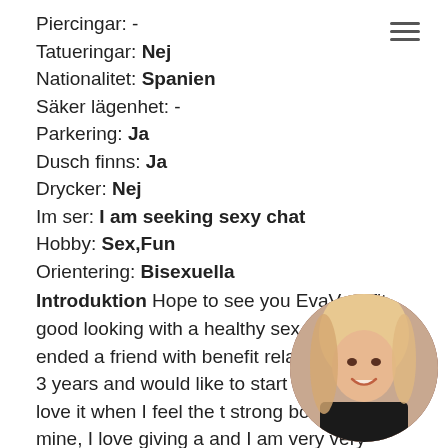Piercingar: -
Tatueringar: Nej
Nationalitet: Spanien
Säker lägenhet: -
Parkering: Ja
Dusch finns: Ja
Drycker: Nej
Im ser: I am seeking sexy chat
Hobby: Sex,Fun
Orientering: Bisexuella
Introduktion Hope to see you EvaVery fit, good looking with a healthy sex drive, just ended a friend with benefit relationship after 3 years and would like to start a new one. I love it when I feel the t strong body next to mine, I love giving a and I am very very good at this. I' m EVA girl from Warsaw. I offer an GFE experance y photos are 100 real!
[Figure (photo): Circular profile photo of a woman with blonde/pink hair, wearing black lingerie, smiling]